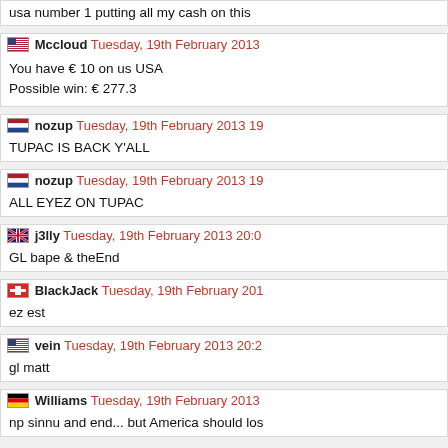usa number 1 putting all my cash on this
Mccloud Tuesday, 19th February 2013 — You have € 10 on us USA. Possible win: € 277.3
nozup Tuesday, 19th February 2013 19: — TUPAC IS BACK Y'ALL
nozup Tuesday, 19th February 2013 19: — ALL EYEZ ON TUPAC
j3lly Tuesday, 19th February 2013 20:0 — GL bape & theEnd
BlackJack Tuesday, 19th February 2013 — ez est
vein Tuesday, 19th February 2013 20:2 — gl matt
Williams Tuesday, 19th February 2013 — np sinnu and end... but America should los